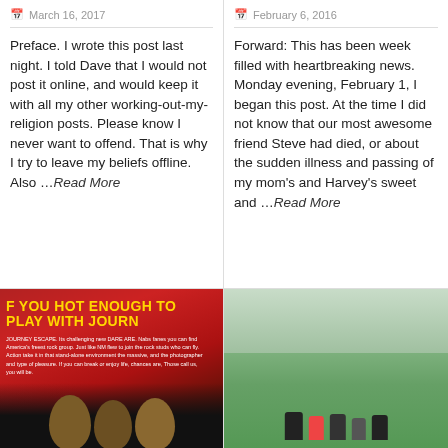March 16, 2017
Preface. I wrote this post last night.  I told Dave that I would not post it online, and would keep it with all my other working-out-my-religion posts.  Please know I never want to offend. That is why I try to leave my beliefs offline.  Also …Read More
February 6, 2016
Forward: This has been week filled with heartbreaking news. Monday evening, February 1, I began this post.  At the time I did not know that our most awesome friend Steve had died, or about the sudden illness and passing of my mom's and Harvey's sweet and …Read More
[Figure (photo): Magazine cover or article with text 'YOU HOT ENOUGH TO PLAY WITH JOURN' in yellow on red background, with faces of people at bottom]
[Figure (photo): Children sitting or standing in a green field, outdoor daytime scene]